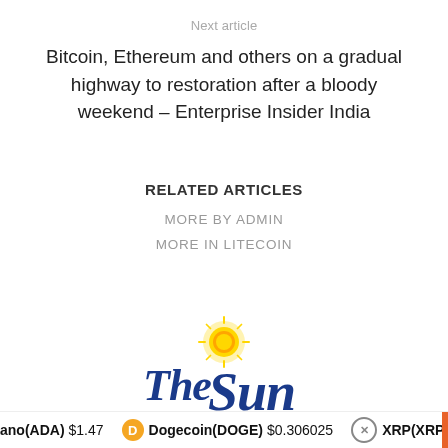Next article
Bitcoin, Ethereum and others on a gradual highway to restoration after a bloody weekend – Enterprise Insider India
RELATED ARTICLES
MORE BY ADMIN
MORE IN LITECOIN
[Figure (logo): The Sun newspaper logo in blue blackletter script with a golden sun illustration above the 'S']
ano(ADA) $1.47   Dogecoin(DOGE) $0.306025   XRP(XRP) $...